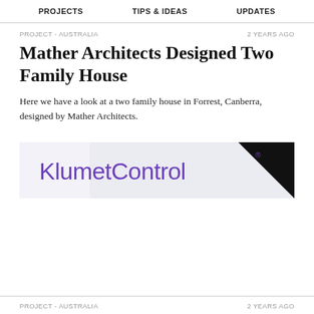PROJECTS   TIPS & IDEAS   UPDATES
PROJECT - AUSTRALIA
2 YEARS AGO
Mather Architects Designed Two Family House
Here we have a look at a two family house in Forrest, Canberra, designed by Mather Architects.
[Figure (logo): KlumetControl advertisement banner with purple logo text on a light background with black triangle in top-right corner]
PROJECT - AUSTRALIA
2 YEARS AGO